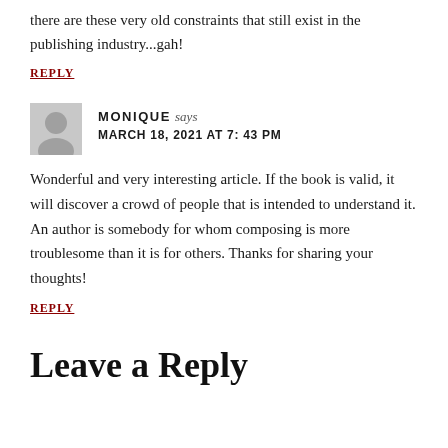there are these very old constraints that still exist in the publishing industry...gah!
REPLY
MONIQUE says
MARCH 18, 2021 AT 7: 43 PM
Wonderful and very interesting article. If the book is valid, it will discover a crowd of people that is intended to understand it. An author is somebody for whom composing is more troublesome than it is for others. Thanks for sharing your thoughts!
REPLY
Leave a Reply